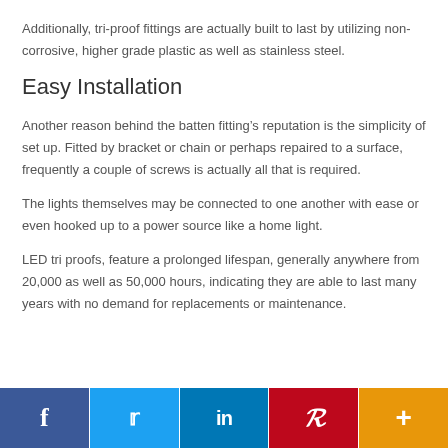Additionally, tri-proof fittings are actually built to last by utilizing non-corrosive, higher grade plastic as well as stainless steel.
Easy Installation
Another reason behind the batten fitting’s reputation is the simplicity of set up. Fitted by bracket or chain or perhaps repaired to a surface, frequently a couple of screws is actually all that is required.
The lights themselves may be connected to one another with ease or even hooked up to a power source like a home light.
LED tri proofs, feature a prolonged lifespan, generally anywhere from 20,000 as well as 50,000 hours, indicating they are able to last many years with no demand for replacements or maintenance.
Social share bar: Facebook, Twitter, LinkedIn, Pinterest, More